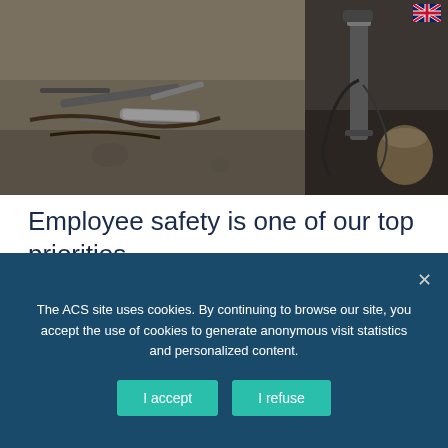[Figure (photo): Workshop/construction site scene showing tools and metal pipes on a concrete floor (left panel) and welding/industrial equipment with a bag in background (right panel). UK flag visible top right.]
Employee safety is one of our top priorities
ACS pays special attention to training and testing employees in occupational health and safety. We apply a zero-tolerance policy at all service delivery sites and comply with the highest applicable international
The ACS site uses cookies. By continuing to browse our site, you accept the use of cookies to generate anonymous visit statistics and personalized content.